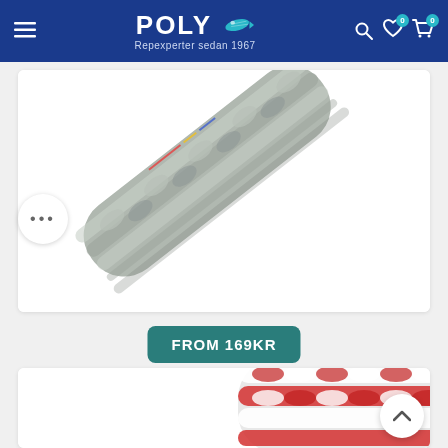POLY - Repexperter sedan 1967
[Figure (photo): Close-up photograph of a thick gray braided rope on a white background, running diagonally from lower-left to upper-right]
• • •
FROM 169KR
[Figure (photo): Close-up photograph of a red and white braided rope on a white background, in upper-right area]